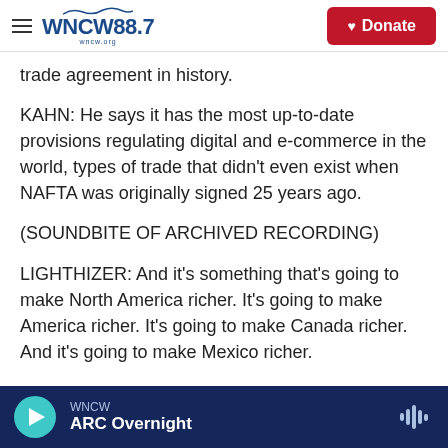WNCW 88.7 | Donate
trade agreement in history.
KAHN: He says it has the most up-to-date provisions regulating digital and e-commerce in the world, types of trade that didn't even exist when NAFTA was originally signed 25 years ago.
(SOUNDBITE OF ARCHIVED RECORDING)
LIGHTHIZER: And it's something that's going to make North America richer. It's going to make America richer. It's going to make Canada richer. And it's going to make Mexico richer.
WNCW | ARC Overnight